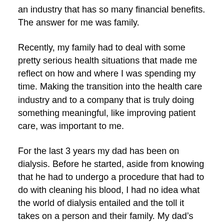an industry that has so many financial benefits. The answer for me was family.
Recently, my family had to deal with some pretty serious health situations that made me reflect on how and where I was spending my time. Making the transition into the health care industry and to a company that is truly doing something meaningful, like improving patient care, was important to me.
For the last 3 years my dad has been on dialysis. Before he started, aside from knowing that he had to undergo a procedure that had to do with cleaning his blood, I had no idea what the world of dialysis entailed and the toll it takes on a person and their family. My dad's situation led me to want to learn more about dialysis, the benefits of home dialysis, the latest technology, and how it can